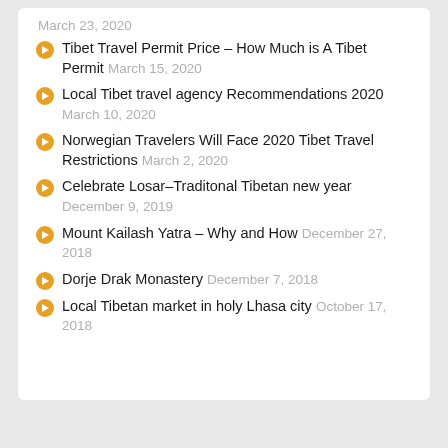March 23, 2020
Tibet Travel Permit Price – How Much is A Tibet Permit March 15, 2020
Local Tibet travel agency Recommendations 2020 March 10, 2020
Norwegian Travelers Will Face 2020 Tibet Travel Restrictions March 2, 2020
Celebrate Losar–Traditonal Tibetan new year December 9, 2019
Mount Kailash Yatra – Why and How December 27, 2018
Dorje Drak Monastery December 7, 2018
Local Tibetan market in holy Lhasa city October 17, 2018